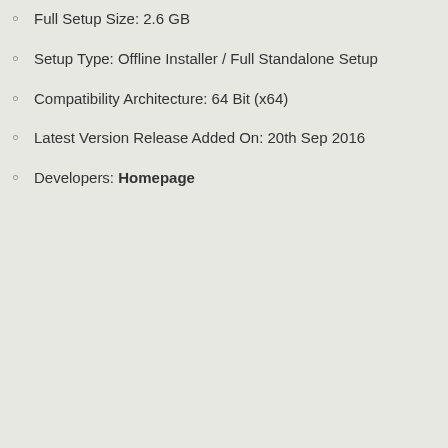Full Setup Size: 2.6 GB
Setup Type: Offline Installer / Full Standalone Setup
Compatibility Architecture: 64 Bit (x64)
Latest Version Release Added On: 20th Sep 2016
Developers: Homepage